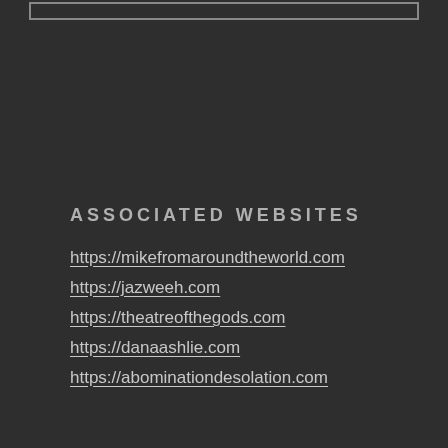ASSOCIATED WEBSITES
https://mikefromaroundtheworld.com
https://jazweeh.com
https://theatreofthegods.com
https://danaashlie.com
https://abominationdesolation.com